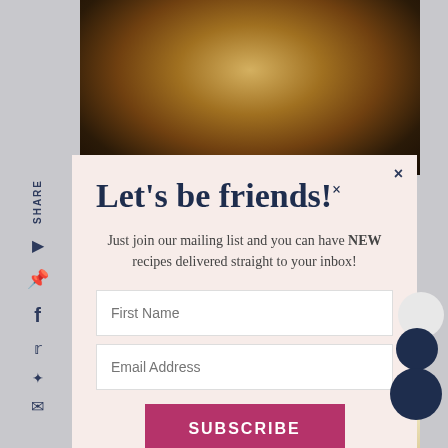[Figure (photo): Food photo background showing a cast iron skillet with egg/cheese dish on top portion and a baked cheesy dish on bottom portion, with gray background]
Let's be friends!
Just join our mailing list and you can have NEW recipes delivered straight to your inbox!
First Name
Email Address
SUBSCRIBE